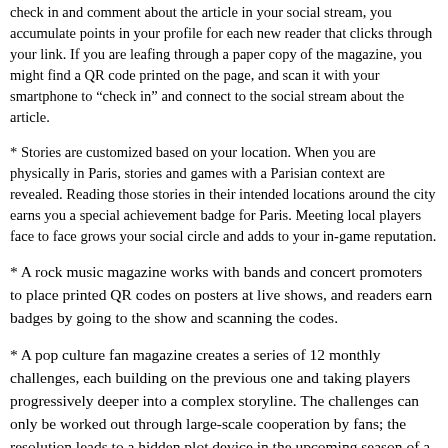check in and comment about the article in your social stream, you accumulate points in your profile for each new reader that clicks through your link. If you are leafing through a paper copy of the magazine, you might find a QR code printed on the page, and scan it with your smartphone to “check in” and connect to the social stream about the article.
* Stories are customized based on your location. When you are physically in Paris, stories and games with a Parisian context are revealed. Reading those stories in their intended locations around the city earns you a special achievement badge for Paris. Meeting local players face to face grows your social circle and adds to your in-game reputation.
* A rock music magazine works with bands and concert promoters to place printed QR codes on posters at live shows, and readers earn badges by going to the show and scanning the codes.
* A pop culture fan magazine creates a series of 12 monthly challenges, each building on the previous one and taking players progressively deeper into a complex storyline. The challenges can only be worked out through large-scale cooperation by fans; the resolution leads to a hidden plot device in the upcoming season of a hit reality TV series.
* An advertiser sponsors a global treasure hunt, with rabbit